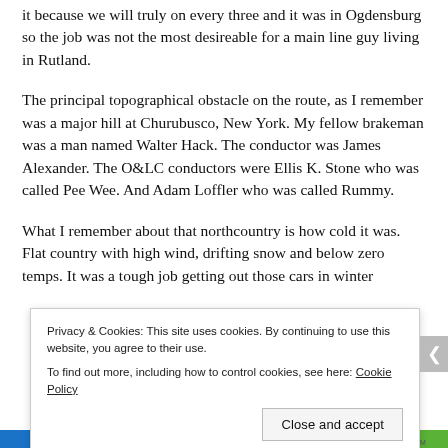it because we will truly on every three and it was in Ogdensburg so the job was not the most desireable for a main line guy living in Rutland.
The principal topographical obstacle on the route, as I remember was a major hill at Churubusco, New York. My fellow brakeman was a man named Walter Hack. The conductor was James Alexander. The O&LC conductors were Ellis K. Stone who was called Pee Wee. And Adam Loffler who was called Rummy.
What I remember about that northcountry is how cold it was. Flat country with high wind, drifting snow and below zero temps. It was a tough job getting out those cars in winter...
Privacy & Cookies: This site uses cookies. By continuing to use this website, you agree to their use.
To find out more, including how to control cookies, see here: Cookie Policy